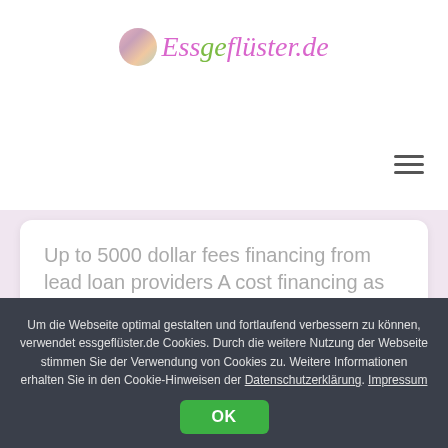[Figure (logo): Essgeflüster.de logo with circular avatar image and stylized italic text in pink and green]
Up to 5000 dollar fees financing from lead loan providers A cost financing as high as 5,000 dollar was a money financing which you pay in a great pre-planned number of costs inside a selected Read more…
Um die Webseite optimal gestalten und fortlaufend verbessern zu können, verwendet essgeflüster.de Cookies. Durch die weitere Nutzung der Webseite stimmen Sie der Verwendung von Cookies zu. Weitere Informationen erhalten Sie in den Cookie-Hinweisen der Datenschutzerklärung. Impressum
OK